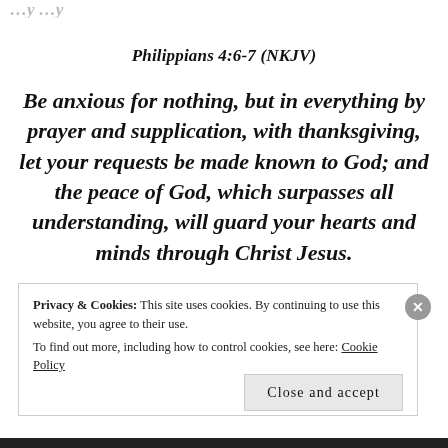Philippians 4:6-7 (NKJV)
Be anxious for nothing, but in everything by prayer and supplication, with thanksgiving, let your requests be made known to God; and the peace of God, which surpasses all understanding, will guard your hearts and minds through Christ Jesus.
Privacy & Cookies: This site uses cookies. By continuing to use this website, you agree to their use. To find out more, including how to control cookies, see here: Cookie Policy
Close and accept